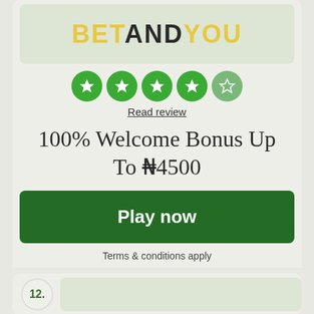[Figure (logo): BetAndYou logo on light green background, text partially visible at top]
[Figure (infographic): 5 green star rating circles, 4 filled stars and 1 empty/outline star]
Read review
100% Welcome Bonus Up To ₦4500
Play now
Terms & conditions apply
12.